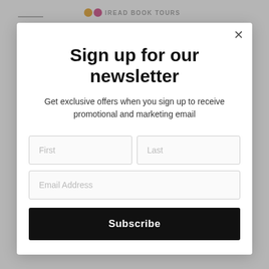[Figure (screenshot): Background website page with logo and navigation links partially visible behind a modal overlay]
Sign up for our newsletter
Get exclusive offers when you sign up to receive promotional and marketing email
First (input field)
Last (input field)
Email Address (input field)
Subscribe (button)
Virtual Book Tours
Wallace-e-briggs